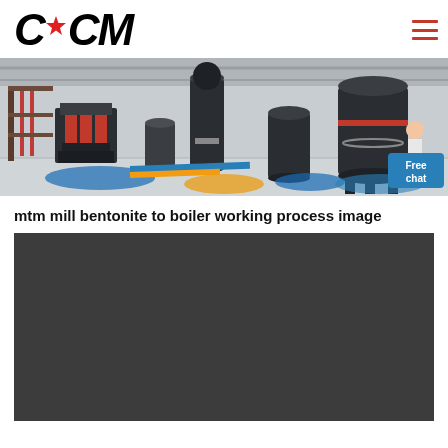CCM
[Figure (photo): Industrial factory floor with large grey milling/grinding machines and equipment. A woman in a lab coat is visible in the background. A blue chat button reads 'Free chat' in the bottom right corner.]
mtm mill bentonite to boiler working process image
[Figure (photo): Dark/black placeholder image area below the title, representing a video or image that has not loaded.]